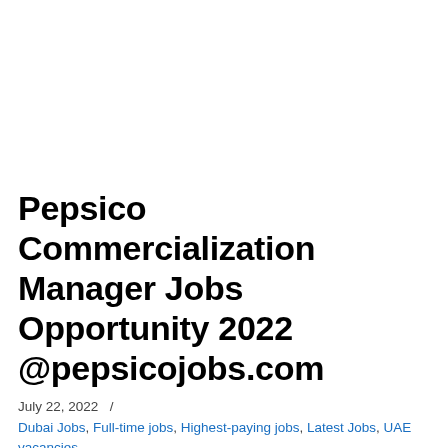Pepsico Commercialization Manager Jobs Opportunity 2022 @pepsicojobs.com
July 22, 2022  /
Dubai Jobs, Full-time jobs, Highest-paying jobs, Latest Jobs, UAE vacancies